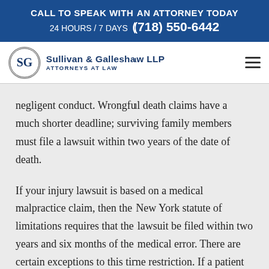CALL TO SPEAK WITH AN ATTORNEY TODAY
24 HOURS / 7 DAYS (718) 550-6442
[Figure (logo): Sullivan & Galleshaw LLP Attorneys at Law logo with SG monogram in a circle]
negligent conduct. Wrongful death claims have a much shorter deadline; surviving family members must file a lawsuit within two years of the date of death.
If your injury lawsuit is based on a medical malpractice claim, then the New York statute of limitations requires that the lawsuit be filed within two years and six months of the medical error. There are certain exceptions to this time restriction. If a patient is undergoing a series of treatments, then the statute of limitations might begin running from the time the malpractice occurred or from